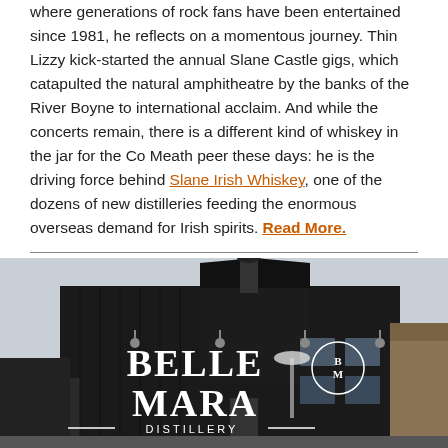where generations of rock fans have been entertained since 1981, he reflects on a momentous journey. Thin Lizzy kick-started the annual Slane Castle gigs, which catapulted the natural amphitheatre by the banks of the River Boyne to international acclaim. And while the concerts remain, there is a different kind of whiskey in the jar for the Co Meath peer these days: he is the driving force behind Slane Irish Whiskey, one of the dozens of new distilleries feeding the enormous overseas demand for Irish spirits. Read More.
[Figure (photo): Exterior photograph of Belle Mara Distillery building with dark/black vertical siding and large white lettering reading BELLE MARA DISTILLERY with a circular logo]